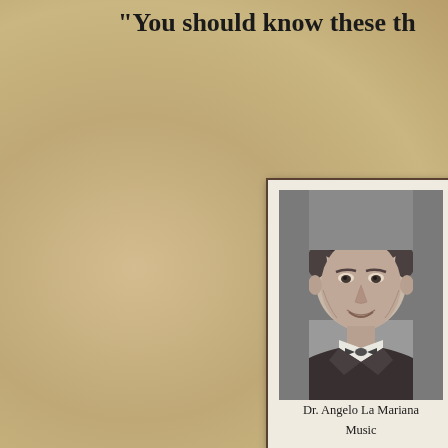"You should know these th
[Figure (photo): Black and white portrait photo of Dr. Angelo La Mariana, a middle-aged man smiling, wearing a bow tie and suit jacket, presented in a cream-bordered card frame.]
Dr. Angelo La Mariana
Music